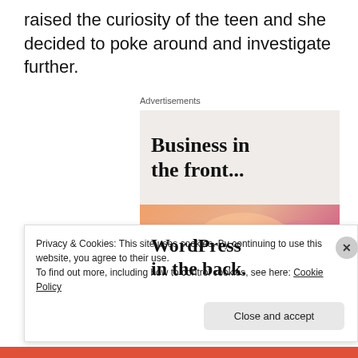raised the curiosity of the teen and she decided to poke around and investigate further.
[Figure (other): Advertisement banner showing 'Business in the front... WordPress in the back.' with light beige top section and colorful gradient orange/pink bottom section with decorative blobs]
Privacy & Cookies: This site uses cookies. By continuing to use this website, you agree to their use.
To find out more, including how to control cookies, see here: Cookie Policy
Close and accept